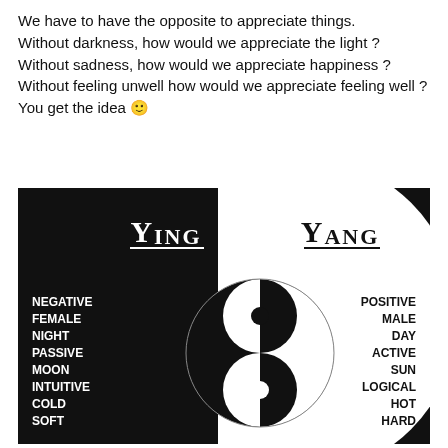We have to have the opposite to appreciate things. Without darkness, how would we appreciate the light ? Without sadness, how would we appreciate happiness ? Without feeling unwell how would we appreciate feeling well ? You get the idea 🙂
[Figure (illustration): Yin-Yang diagram on a black background. Left half labeled 'YING' in white serif font with underline, right half labeled 'YANG' in black serif font with underline on white area. Left side lists: NEGATIVE, FEMALE, NIGHT, PASSIVE, MOON, INTUITIVE, COLD, SOFT in white bold text. Right side lists: POSITIVE, MALE, DAY, ACTIVE, SUN, LOGICAL, HOT, HARD in black bold text. Center features the classic yin-yang swirl symbol in black and white with two dots.]